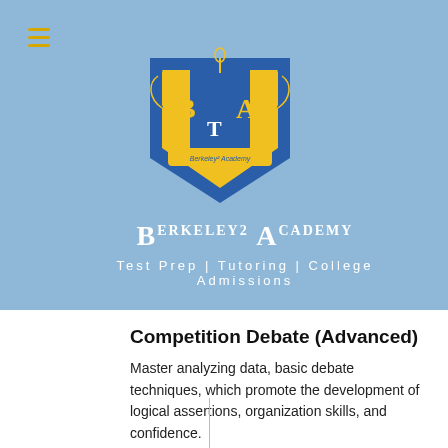[Figure (logo): Berkeley squared Academy shield logo with blue and yellow crest, caduceus symbol, laurel wreaths, letters B, A, T inside shield]
Berkeley² Academy
Test Prep | Tutoring | College Admissions
Competition Debate (Advanced)
Master analyzing data, basic debate techniques, which promote the development of logical assertions, organization skills, and confidence.
Meets twice a week, for 2 hours.
Schedule TBD - please check back later!